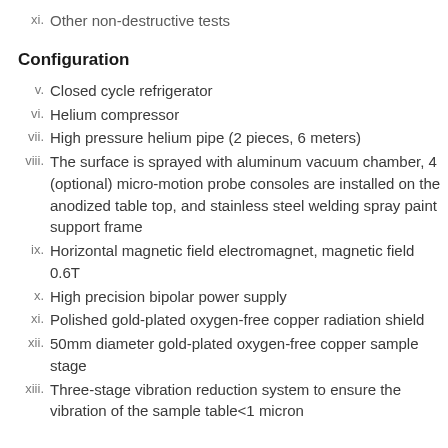xi. Other non-destructive tests
Configuration
v. Closed cycle refrigerator
vi. Helium compressor
vii. High pressure helium pipe (2 pieces, 6 meters)
viii. The surface is sprayed with aluminum vacuum chamber, 4 (optional) micro-motion probe consoles are installed on the anodized table top, and stainless steel welding spray paint support frame
ix. Horizontal magnetic field electromagnet, magnetic field 0.6T
x. High precision bipolar power supply
xi. Polished gold-plated oxygen-free copper radiation shield
xii. 50mm diameter gold-plated oxygen-free copper sample stage
xiii. Three-stage vibration reduction system to ensure the vibration of the sample table<1 micron